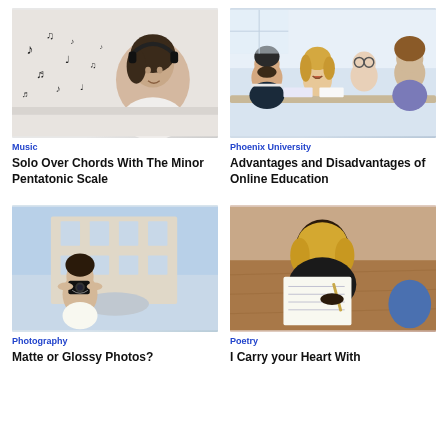[Figure (photo): Woman with headphones listening to music, musical notes floating around]
[Figure (photo): Group of young university students studying together, smiling]
Music
Phoenix University
Solo Over Chords With The Minor Pentatonic Scale
Advantages and Disadvantages of Online Education
[Figure (photo): Woman with camera photographing in front of a historic building with fountain]
[Figure (photo): Woman with blonde bob hair writing in a notebook]
Photography
Poetry
Matte or Glossy Photos?
I Carry your Heart With